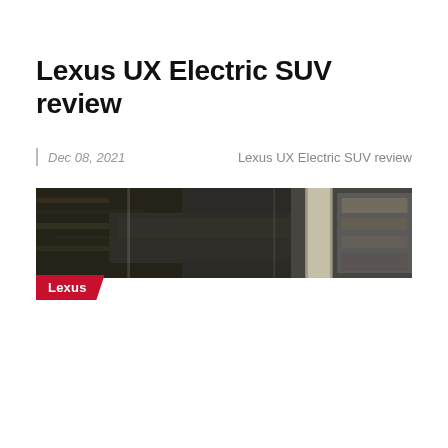Lexus UX Electric SUV review
Dec 08, 2021   Lexus UX Electric SUV review
[Figure (photo): Wide panoramic banner photo of a Lexus electric SUV in a dark parking/showroom environment, with a red 'Lexus' label badge overlaid at the bottom-left]
Lexus